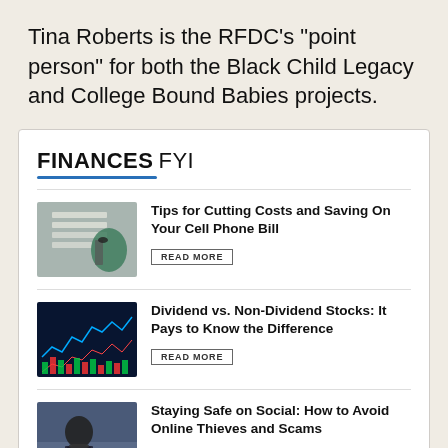Tina Roberts is the RFDC’s “point person” for both the Black Child Legacy and College Bound Babies projects.
FINANCES FYI
[Figure (photo): Person writing on papers with a pen]
Tips for Cutting Costs and Saving On Your Cell Phone Bill
READ MORE
[Figure (photo): Stock market chart with colorful bars and lines on dark background]
Dividend vs. Non-Dividend Stocks: It Pays to Know the Difference
READ MORE
[Figure (photo): Hooded figure holding a laptop in dark setting]
Staying Safe on Social: How to Avoid Online Thieves and Scams
READ MORE